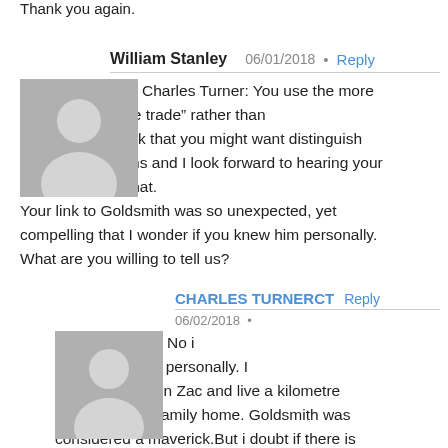Thank you again.
William Stanley  06/01/2018  •  Reply
Charles Turner: You use the more precise term “free trade” rather than “globalism.” I think that you might want distinguish between the terms and I look forward to hearing your thoughts about that.
Your link to Goldsmith was so unexpected, yet compelling that I wonder if you knew him personally. What are you willing to tell us?
CHARLES TURNERCT  Reply
06/02/2018  •
No i didn't know him personally. I have met his son Zac and live a kilometre away from the family home. Goldsmith was considered a maverick.But i doubt if there is